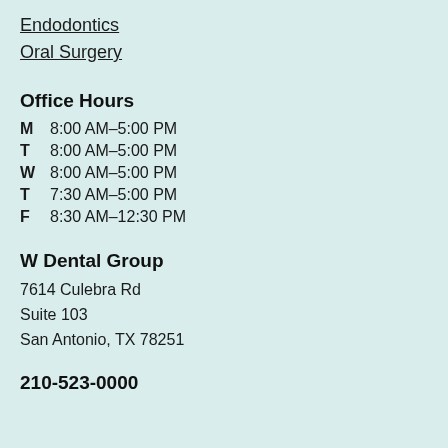Endodontics
Oral Surgery
Office Hours
| M | 8:00 AM–5:00 PM |
| T | 8:00 AM–5:00 PM |
| W | 8:00 AM–5:00 PM |
| T | 7:30 AM–5:00 PM |
| F | 8:30 AM–12:30 PM |
W Dental Group
7614 Culebra Rd
Suite 103
San Antonio, TX 78251
210-523-0000